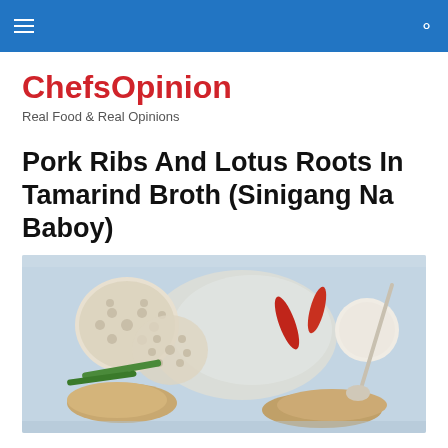ChefsOpinion navigation bar
ChefsOpinion
Real Food & Real Opinions
Pork Ribs And Lotus Roots In Tamarind Broth (Sinigang Na Baboy)
[Figure (photo): A bowl of Pork Ribs And Lotus Roots In Tamarind Broth (Sinigang Na Baboy) featuring lotus root slices with holes, red chili peppers, green beans, pork ribs, and white rice, served in a light blue bowl with a spoon.]